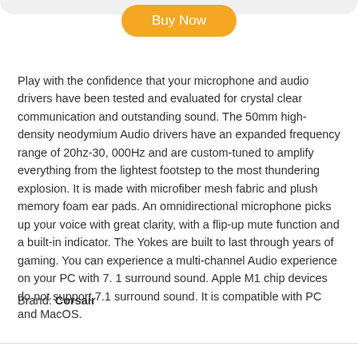[Figure (other): Orange 'Buy Now' rounded button at top center of page]
Play with the confidence that your microphone and audio drivers have been tested and evaluated for crystal clear communication and outstanding sound. The 50mm high-density neodymium Audio drivers have an expanded frequency range of 20hz-30, 000Hz and are custom-tuned to amplify everything from the lightest footstep to the most thundering explosion. It is made with microfiber mesh fabric and plush memory foam ear pads. An omnidirectional microphone picks up your voice with great clarity, with a flip-up mute function and a built-in indicator. The Yokes are built to last through years of gaming. You can experience a multi-channel Audio experience on your PC with 7. 1 surround sound. Apple M1 chip devices do not support 7.1 surround sound. It is compatible with PC and MacOS.
Brand: Corsair